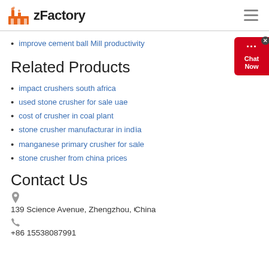zFactory
improve cement ball Mill productivity
Related Products
impact crushers south africa
used stone crusher for sale uae
cost of crusher in coal plant
stone crusher manufacturar in india
manganese primary crusher for sale
stone crusher from china prices
Contact Us
139 Science Avenue, Zhengzhou, China
+86 15538087991